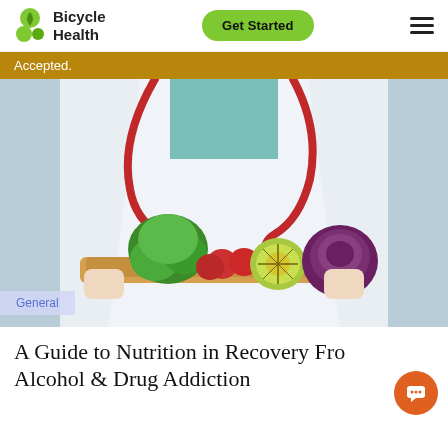Bicycle Health
Accepted.
[Figure (photo): A doctor in a white lab coat holding a wooden tray of fresh fruits and vegetables including broccoli, strawberries, kiwi, and red cabbage, with a red stethoscope around their neck.]
General
A Guide to Nutrition in Recovery From Alcohol & Drug Addiction